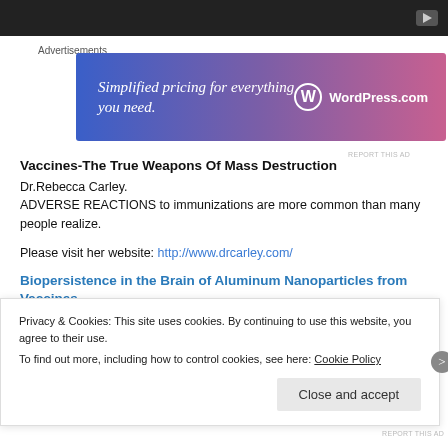[Figure (screenshot): Dark video player bar with YouTube play button icon in top right]
Advertisements
[Figure (screenshot): WordPress.com advertisement banner: 'Simplified pricing for everything you need.' with WordPress.com logo]
REPORT THIS AD
Vaccines-The True Weapons Of Mass Destruction
Dr.Rebecca Carley.
ADVERSE REACTIONS to immunizations are more common than many people realize.
Please visit her website: http://www.drcarley.com/
Biopersistence in the Brain of Aluminum Nanoparticles from Vaccines
Posted by Merinda Teller, Ph.D, MPH on Aug 14, 2017
In the 1990s, French clinicians and researchers began noticing and
Privacy & Cookies: This site uses cookies. By continuing to use this website, you agree to their use.
To find out more, including how to control cookies, see here: Cookie Policy
Close and accept